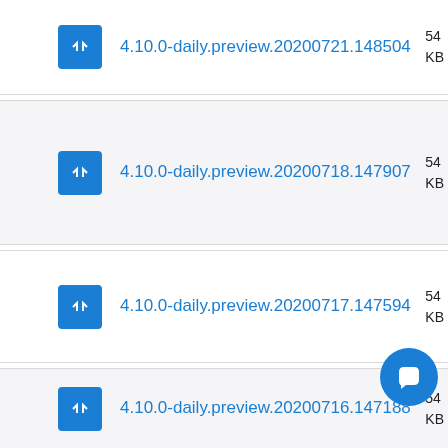4.10.0-daily.preview.20200721.148504
4.10.0-daily.preview.20200718.147907
4.10.0-daily.preview.20200717.147594
4.10.0-daily.preview.20200716.147188